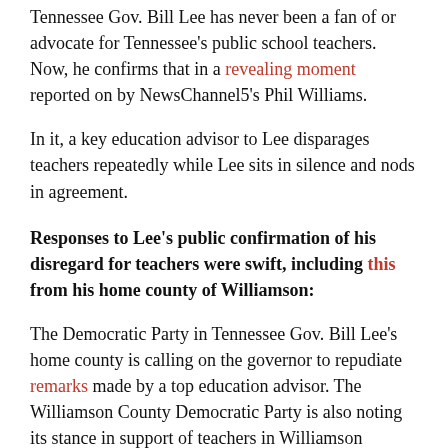Tennessee Gov. Bill Lee has never been a fan of or advocate for Tennessee's public school teachers. Now, he confirms that in a revealing moment reported on by NewsChannel5's Phil Williams.
In it, a key education advisor to Lee disparages teachers repeatedly while Lee sits in silence and nods in agreement.
Responses to Lee's public confirmation of his disregard for teachers were swift, including this from his home county of Williamson:
The Democratic Party in Tennessee Gov. Bill Lee's home county is calling on the governor to repudiate remarks made by a top education advisor. The Williamson County Democratic Party is also noting its stance in support of teachers in Williamson County and across Tennessee.